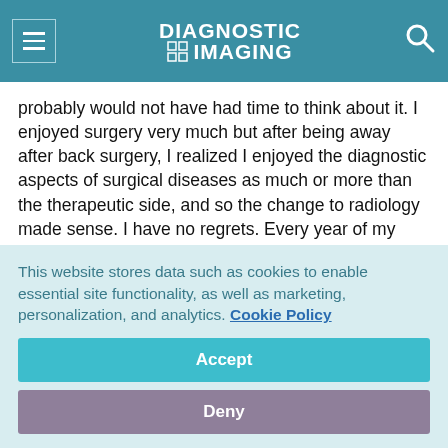DIAGNOSTIC IMAGING
probably would not have had time to think about it. I enjoyed surgery very much but after being away after back surgery, I realized I enjoyed the diagnostic aspects of surgical diseases as much or more than the therapeutic side, and so the change to radiology made sense. I have no regrets. Every year of my career, our technological and scientific advances have allowed me to take better care of our patients and help ensure that appropriate medical and surgical treatment
This website stores data such as cookies to enable essential site functionality, as well as marketing, personalization, and analytics. Cookie Policy
Accept
Deny